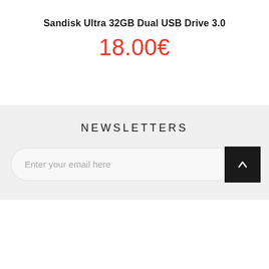Sandisk Ultra 32GB Dual USB Drive 3.0
18.00€
NEWSLETTERS
Enter your email here